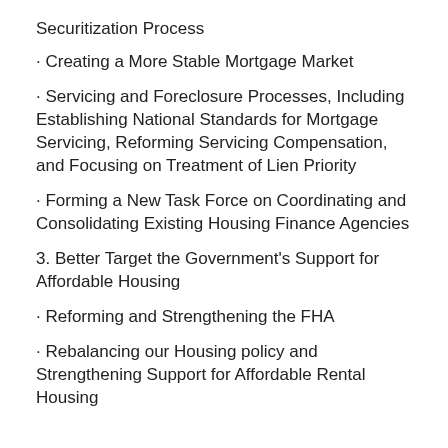Securitization Process
· Creating a More Stable Mortgage Market
· Servicing and Foreclosure Processes, Including Establishing National Standards for Mortgage Servicing, Reforming Servicing Compensation, and Focusing on Treatment of Lien Priority
· Forming a New Task Force on Coordinating and Consolidating Existing Housing Finance Agencies
3. Better Target the Government's Support for Affordable Housing
· Reforming and Strengthening the FHA
· Rebalancing our Housing policy and Strengthening Support for Affordable Rental Housing